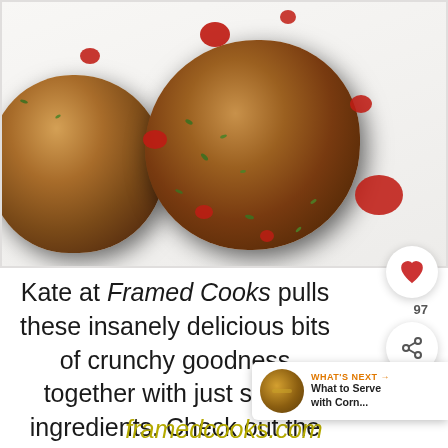[Figure (photo): Close-up overhead photo of two golden-brown pan-fried crab cakes on a white plate, drizzled with bright red sauce and garnished with fresh chopped green parsley. The cakes have a crispy, heavily seasoned crust.]
Kate at Framed Cooks pulls these insanely delicious bits of crunchy goodness together with just seven ingredients. Check out the details here.
framedcooks.com